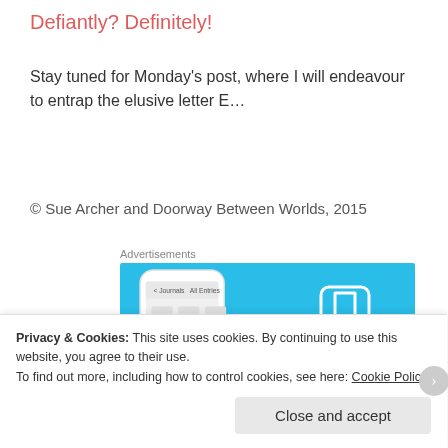Defiantly? Definitely!
Stay tuned for Monday’s post, where I will endeavour to entrap the elusive letter E…
© Sue Archer and Doorway Between Worlds, 2015
Advertisements
[Figure (screenshot): Day One app advertisement showing a smartphone with the app interface and the DayOne logo on a blue background]
Privacy & Cookies: This site uses cookies. By continuing to use this website, you agree to their use.
To find out more, including how to control cookies, see here: Cookie Policy
Close and accept